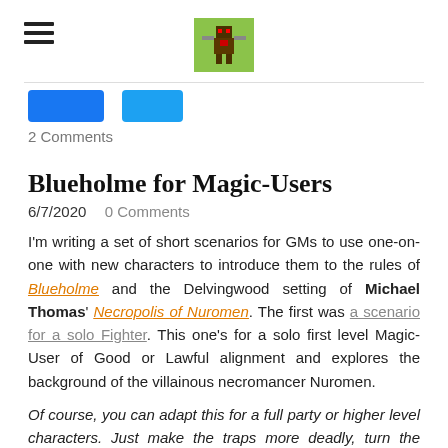[Hamburger menu icon] [Logo image]
[Figure (logo): Green square logo with pixel-art figure holding what appears to be weapons, with red elements, on a green background]
[Figure (other): Two blue social share buttons (Facebook and Twitter style)]
2 Comments
Blueholme for Magic-Users
6/7/2020  0 Comments
I'm writing a set of short scenarios for GMs to use one-on-one with new characters to introduce them to the rules of Blueholme and the Delvingwood setting of Michael Thomas' Necropolis of Nuromen. The first was a scenario for a solo Fighter. This one's for a solo first level Magic-User of Good or Lawful alignment and explores the background of the villainous necromancer Nuromen.
Of course, you can adapt this for a full party or higher level characters. Just make the traps more deadly, turn the Tormented Knight into a